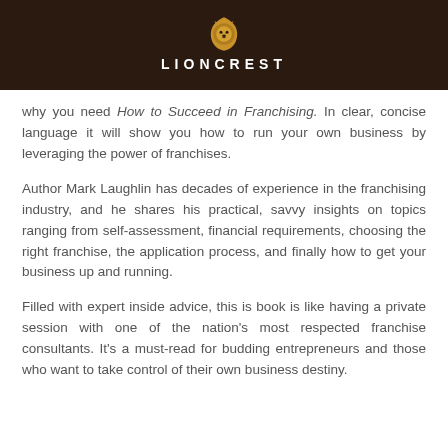[Figure (logo): Lioncrest publisher logo with lion head icon above the text LIONCREST on dark brown background]
why you need How to Succeed in Franchising. In clear, concise language it will show you how to run your own business by leveraging the power of franchises.
Author Mark Laughlin has decades of experience in the franchising industry, and he shares his practical, savvy insights on topics ranging from self-assessment, financial requirements, choosing the right franchise, the application process, and finally how to get your business up and running.
Filled with expert inside advice, this is book is like having a private session with one of the nation’s most respected franchise consultants. It’s a must-read for budding entrepreneurs and those who want to take control of their own business destiny.